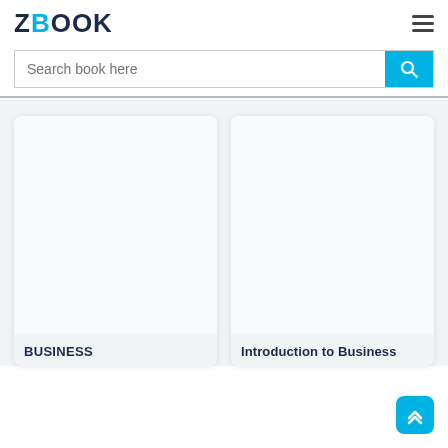ZBOOK
Search book here
[Figure (screenshot): Book card with blank cover - BUSINESS]
[Figure (screenshot): Book card with blank cover - Introduction to Business]
BUSINESS
Introduction to Business